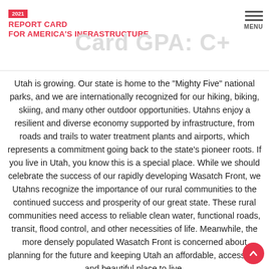2021 REPORT CARD FOR AMERICA'S INFRASTRUCTURE | Report Card GPA: C+
Utah is growing. Our state is home to the “Mighty Five” national parks, and we are internationally recognized for our hiking, biking, skiing, and many other outdoor opportunities. Utahns enjoy a resilient and diverse economy supported by infrastructure, from roads and trails to water treatment plants and airports, which represents a commitment going back to the state’s pioneer roots. If you live in Utah, you know this is a special place. While we should celebrate the success of our rapidly developing Wasatch Front, we Utahns recognize the importance of our rural communities to the continued success and prosperity of our great state. These rural communities need access to reliable clean water, functional roads, transit, flood control, and other necessities of life. Meanwhile, the more densely populated Wasatch Front is concerned about planning for the future and keeping Utah an affordable, accessible, and beautiful place to live.